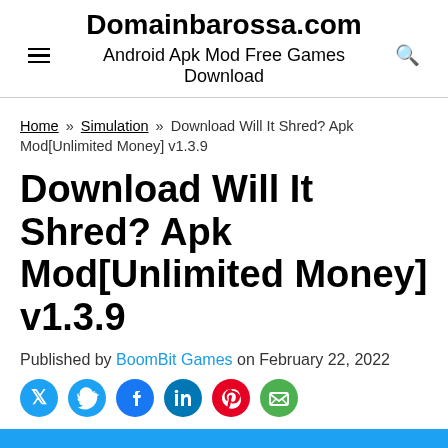Domainbarossa.com
Android Apk Mod Free Games Download
Home » Simulation » Download Will It Shred? Apk Mod[Unlimited Money] v1.3.9
Download Will It Shred? Apk Mod[Unlimited Money] v1.3.9
Published by BoomBit Games on February 22, 2022
[Figure (other): Social share icons: Twitter, Facebook, LinkedIn, Pinterest, Email]